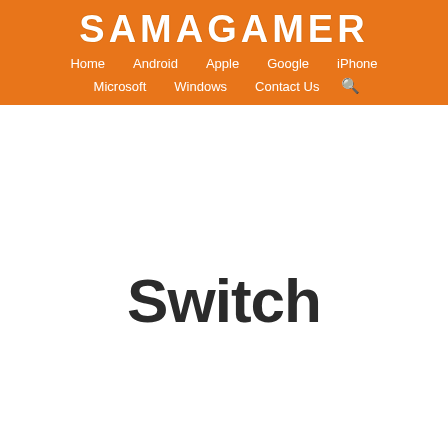SAMAGAMER
Home  Android  Apple  Google  iPhone  Microsoft  Windows  Contact Us
Switch
x